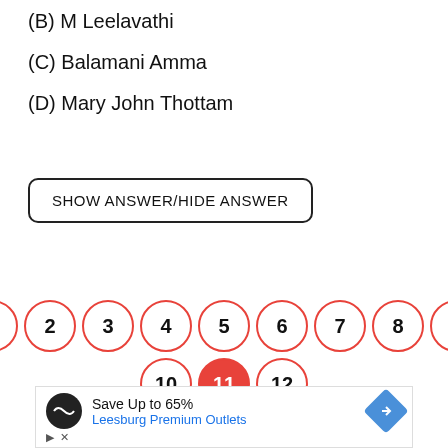(B) M Leelavathi
(C) Balamani Amma
(D) Mary John Thottam
SHOW ANSWER/HIDE ANSWER
[Figure (other): Pagination circles numbered 1 through 12, with circle 11 highlighted in red (active/current page)]
[Figure (other): Advertisement banner: Save Up to 65% Leesburg Premium Outlets]